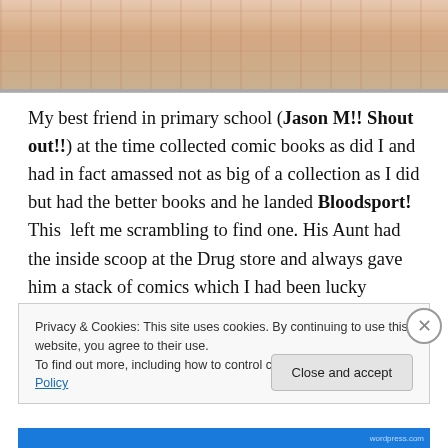[Figure (illustration): Cropped comic book panel showing colored illustration at the top of the page]
My best friend in primary school (Jason M!! Shout out!!) at the time collected comic books as did I and had in fact amassed not as big of a collection as I did but had the better books and he landed Bloodsport! This  left me scrambling to find one. His Aunt had the inside scoop at the Drug store and always gave him a stack of comics which I had been lucky enough to have from time to time as well. This was competition damn it!! Almost impossible
Privacy & Cookies: This site uses cookies. By continuing to use this website, you agree to their use.
To find out more, including how to control cookies, see here: Cookie Policy
Close and accept